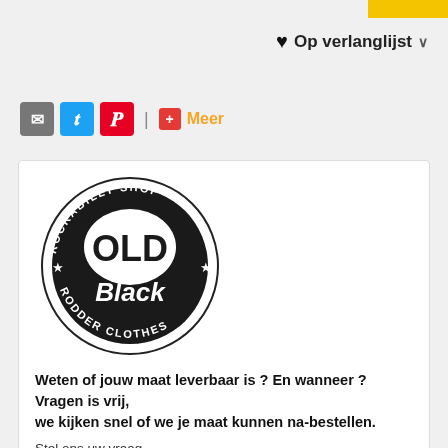[Figure (other): Yellow top bar in upper right corner]
♥ Op verlanglijst ∨
[Figure (other): Social share icons: email (grey), Twitter (blue), Pinterest (red), divider, plus (red) Meer (orange)]
[Figure (logo): Old & Black Rockabilly Shop Rodder Clothes circular logo, black circle with OLD & Black text]
Weten of jouw maat leverbaar is ? En wanneer ? Vragen is vrij, we kijken snel of we je maat kunnen na-bestellen.
Stel ons uw vraag
Mail
31638624696
Whatsapp
Facebook